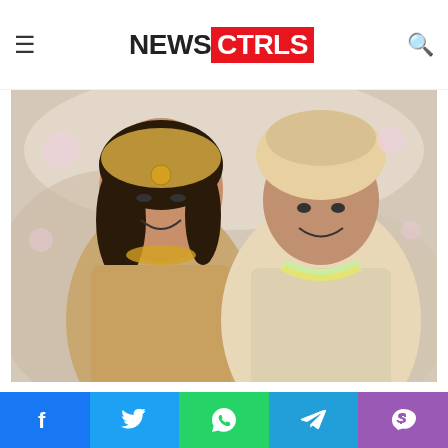NEWSCTRLS
Alia Bhatt is known for her Bollywood debut, however, Ranbir Kapoor told how his life has become after his marriage to Alia.
[Figure (photo): Wedding photo of Alia Bhatt and Ranbir Kapoor in traditional Indian bridal and groom attire, both smiling, with floral decorations in background]
They got married after dating each other for 5
Social share bar: Facebook, Twitter, WhatsApp, Telegram, Phone